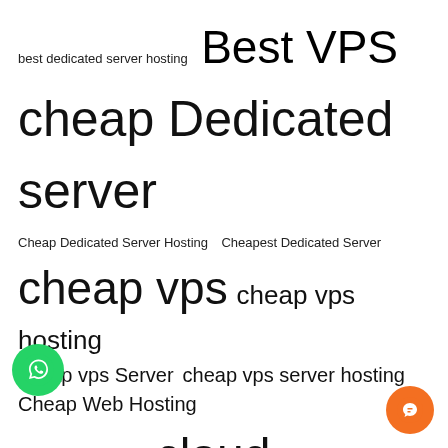best dedicated server hosting   Best VPS
cheap Dedicated server
Cheap Dedicated Server Hosting   Cheapest Dedicated Server
cheap vps   cheap vps hosting
cheap vps Server   cheap vps server hosting   Cheap Web Hosting
Cheap Windows VPS   cloud hosting
cloud vps   cloud web hosting
cpanel vps   cPanel web hosting
Dedicated Server
dedicated server hosting
Dedicated Servers   forex vps
Germany dedicated server